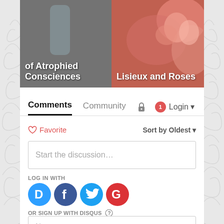[Figure (screenshot): Website screenshot showing top cards with article titles 'of Atrophied Consciences' and 'Lisieux and Roses' over images]
Comments  Community  🔒  1  Login
♡ Favorite    Sort by Oldest
Start the discussion...
LOG IN WITH
[Figure (logo): Social login icons: Disqus (D), Facebook (f), Twitter bird, Google (G)]
OR SIGN UP WITH DISQUS ?
Name